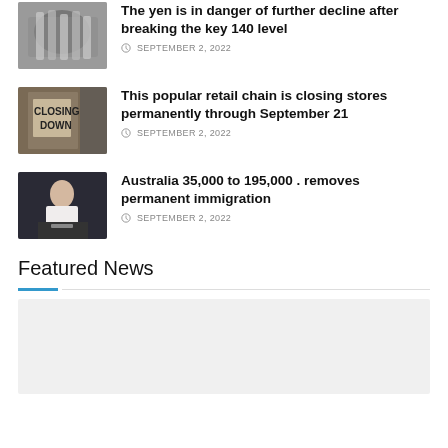[Figure (photo): Thumbnail photo of yen banknotes]
The yen is in danger of further decline after breaking the key 140 level
SEPTEMBER 2, 2022
[Figure (photo): Thumbnail photo of a closing down sign on a store]
This popular retail chain is closing stores permanently through September 21
SEPTEMBER 2, 2022
[Figure (photo): Thumbnail photo of a woman speaking at a podium]
Australia 35,000 to 195,000 . removes permanent immigration
SEPTEMBER 2, 2022
Featured News
[Figure (photo): Featured news image placeholder]